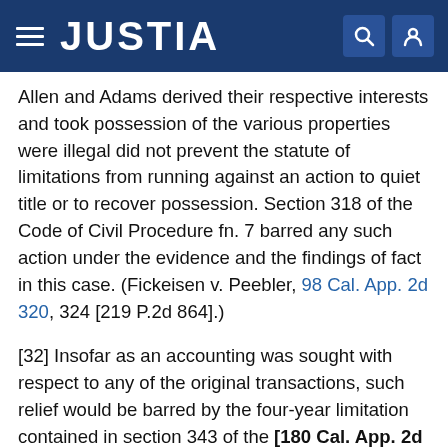JUSTIA
Allen and Adams derived their respective interests and took possession of the various properties were illegal did not prevent the statute of limitations from running against an action to quiet title or to recover possession. Section 318 of the Code of Civil Procedure fn. 7 barred any such action under the evidence and the findings of fact in this case. (Fickeisen v. Peebler, 98 Cal. App. 2d 320, 324 [219 P.2d 864].)
[32] Insofar as an accounting was sought with respect to any of the original transactions, such relief would be barred by the four-year limitation contained in section 343 of the [180 Cal. App. 2d 133] Code of Civil Procedure. (People v. Taliaferro, 149 Cal. App. 2d 822, 825 [309 P.2d 48].)
[33] Under the seventh cause of action in the Schaefer